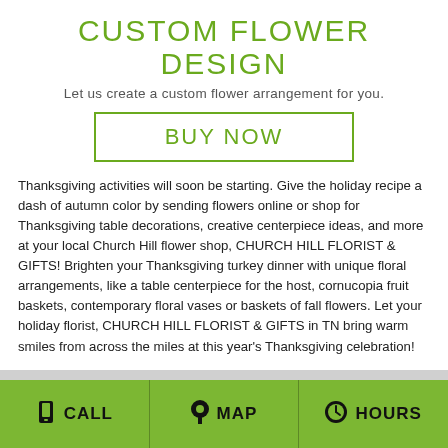CUSTOM FLOWER DESIGN
Let us create a custom flower arrangement for you.
BUY NOW
Thanksgiving activities will soon be starting. Give the holiday recipe a dash of autumn color by sending flowers online or shop for Thanksgiving table decorations, creative centerpiece ideas, and more at your local Church Hill flower shop, CHURCH HILL FLORIST & GIFTS! Brighten your Thanksgiving turkey dinner with unique floral arrangements, like a table centerpiece for the host, cornucopia fruit baskets, contemporary floral vases or baskets of fall flowers. Let your holiday florist, CHURCH HILL FLORIST & GIFTS in TN bring warm smiles from across the miles at this year's Thanksgiving celebration!
📱 CALL   📍 MAP   🕐 HOURS